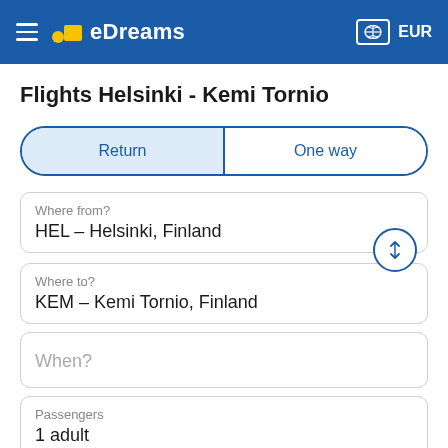eDreams  EUR
Flights Helsinki - Kemi Tornio
Return  |  One way
Where from?
HEL – Helsinki, Finland
Where to?
KEM – Kemi Tornio, Finland
When?
Passengers
1 adult